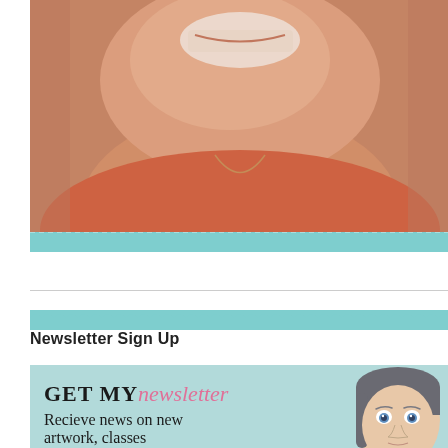[Figure (photo): Close-up photo of a smiling woman with brown hair wearing an orange/coral top and a thin necklace, photographed from below the nose up.]
[Figure (illustration): Teal scalloped decorative border strip below the photo.]
Newsletter Sign Up
[Figure (infographic): Newsletter signup banner with light teal/mint background, scalloped top border, text reading 'GET MY newsletter' (newsletter in pink italic) and 'Recieve news on new artwork, classes' with a cartoon illustration of a woman's face on the right side.]